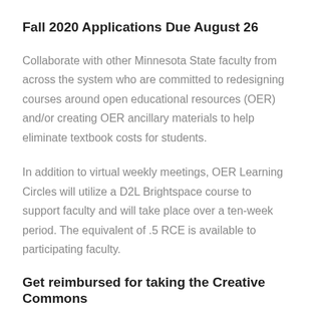Fall 2020 Applications Due August 26
Collaborate with other Minnesota State faculty from across the system who are committed to redesigning courses around open educational resources (OER) and/or creating OER ancillary materials to help eliminate textbook costs for students.
In addition to virtual weekly meetings, OER Learning Circles will utilize a D2L Brightspace course to support faculty and will take place over a ten-week period. The equivalent of .5 RCE is available to participating faculty.
Get reimbursed for taking the Creative Commons